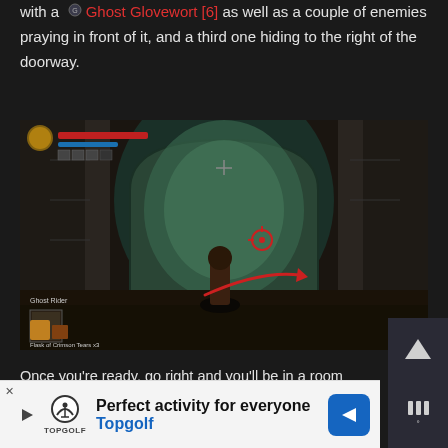with a Ghost Glovewort [6] as well as a couple of enemies praying in front of it, and a third one hiding to the right of the doorway.
[Figure (screenshot): In-game screenshot from Elden Ring showing a dungeon room with a large arched doorway glowing green, a player character in the foreground, and a red curved arrow pointing to the right side. HUD elements visible including health bar, FP bar, and equipment slots.]
Once you're ready, go right and you'll be in a room with 3 enemies that will explode if you come close. You don't have to fight them, and all you have to do is come clo
[Figure (infographic): Advertisement banner for Topgolf: 'Perfect activity for everyone' with Topgolf logo, a blue navigation arrow icon, and a play button icon.]